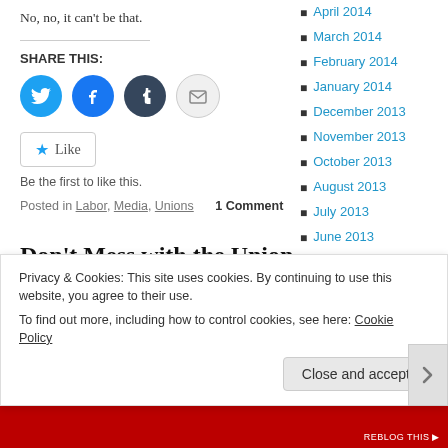No, no, it can't be that.
SHARE THIS:
[Figure (other): Social sharing icons: Twitter (blue circle), Facebook (blue circle), Tumblr (dark circle), Email (grey circle)]
Like  Be the first to like this.
Posted in Labor, Media, Unions   1 Comment
Don't Mess with the Union Guys
April 2014
March 2014
February 2014
January 2014
December 2013
November 2013
October 2013
August 2013
July 2013
June 2013
March 2013
February 2013
Privacy & Cookies: This site uses cookies. By continuing to use this website, you agree to their use. To find out more, including how to control cookies, see here: Cookie Policy
Close and accept